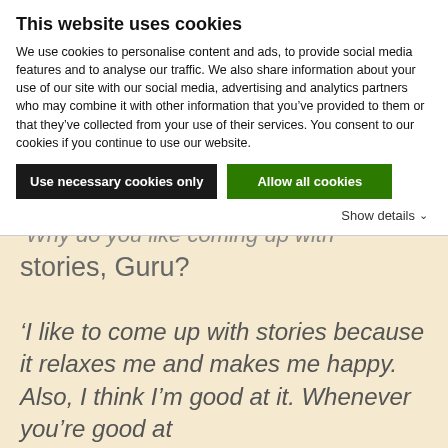This website uses cookies
We use cookies to personalise content and ads, to provide social media features and to analyse our traffic. We also share information about your use of our site with our social media, advertising and analytics partners who may combine it with other information that you’ve provided to them or that they’ve collected from your use of their services. You consent to our cookies if you continue to use our website.
Use necessary cookies only
Allow all cookies
Show details
Why do you like coming up with stories, Guru?
‘I like to come up with stories because it relaxes me and makes me happy. Also, I think I’m good at it. Whenever you’re good at